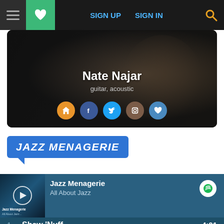SIGN UP | SIGN IN
[Figure (screenshot): Artist profile card for Nate Najar showing 'guitar, acoustic' and social media icons (home, Facebook, Twitter, Instagram, heart/favorite)]
JAZZ MENAGERIE
[Figure (screenshot): Music player showing Jazz Menagerie playlist on All About Jazz with Spotify icon, playback controls, and progress bar]
1  Shaw 'Nuff  Pasquale Grasso  4:01
2  Cleopatra's Dream - Remastered 2003/Rudy Va...  Bud Powell  4:2...